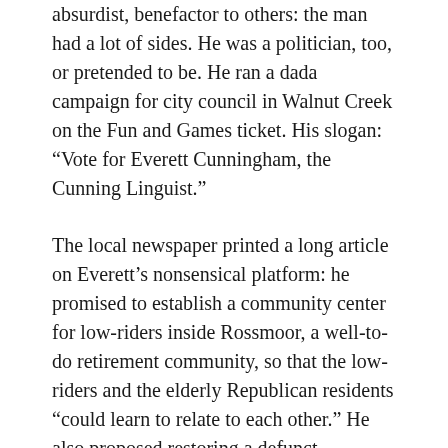absurdist, benefactor to others: the man had a lot of sides. He was a politician, too, or pretended to be. He ran a dada campaign for city council in Walnut Creek on the Fun and Games ticket. His slogan: “Vote for Everett Cunningham, the Cunning Linguist.”
The local newspaper printed a long article on Everett’s nonsensical platform: he promised to establish a community center for low-riders inside Rossmoor, a well-to-do retirement community, so that the low-riders and the elderly Republican residents “could learn to relate to each other.” He also proposed restoring a defunct pornographic movie theater is Walnut Creek’s prestigious downtown district to improve the business climate in the area.
Everett’s city council campaign generated much discussion in conservative Walnut Creek – and a fair amount of hysterical laughter. And when one considers the antics of today’s politicians in Washington, perhaps Everett was guilty of